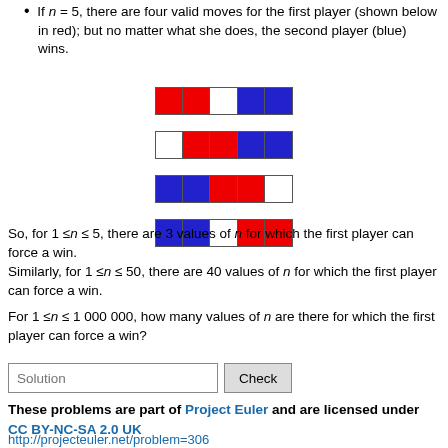If n = 5, there are four valid moves for the first player (shown below in red); but no matter what she does, the second player (blue) wins.
[Figure (illustration): Four diagrams each showing a row of 5 colored squares (red, white, blue combinations) representing valid moves in the game for n=5]
So, for 1 ≤n ≤ 5, there are 3 values of n for which the first player can force a win.
Similarly, for 1 ≤n ≤ 50, there are 40 values of n for which the first player can force a win.
For 1 ≤n ≤ 1 000 000, how many values of n are there for which the first player can force a win?
Solution [input] Check
These problems are part of Project Euler and are licensed under CC BY-NC-SA 2.0 UK
http://projecteuler.net/problem=306